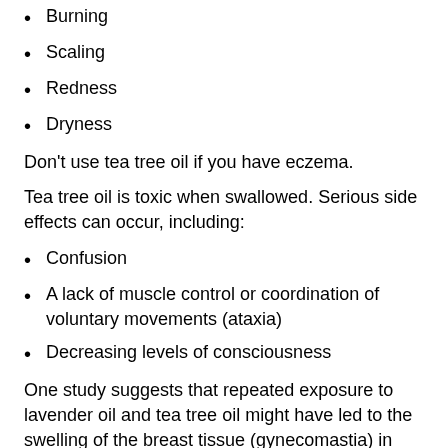Burning
Scaling
Redness
Dryness
Don't use tea tree oil if you have eczema.
Tea tree oil is toxic when swallowed. Serious side effects can occur, including:
Confusion
A lack of muscle control or coordination of voluntary movements (ataxia)
Decreasing levels of consciousness
One study suggests that repeated exposure to lavender oil and tea tree oil might have led to the swelling of the breast tissue (gynecomastia) in young boys.
Although tea tree oil is often used in combination with other drugs when treating bacterial or fungal skin conditions, there's currently no evidence showing drug